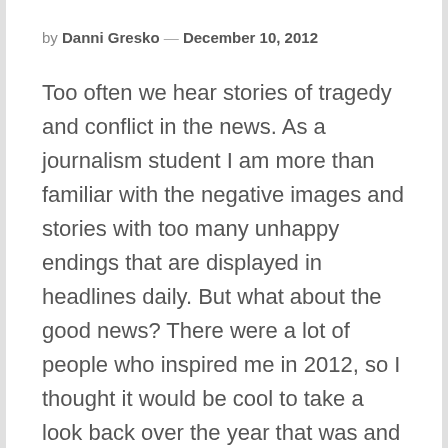by Danni Gresko — December 10, 2012
Too often we hear stories of tragedy and conflict in the news. As a journalism student I am more than familiar with the negative images and stories with too many unhappy endings that are displayed in headlines daily. But what about the good news? There were a lot of people who inspired me in 2012, so I thought it would be cool to take a look back over the year that was and explore some of these inspiring stories.
With a lot of inspiration to choose from it was hard to narrow down my choices.